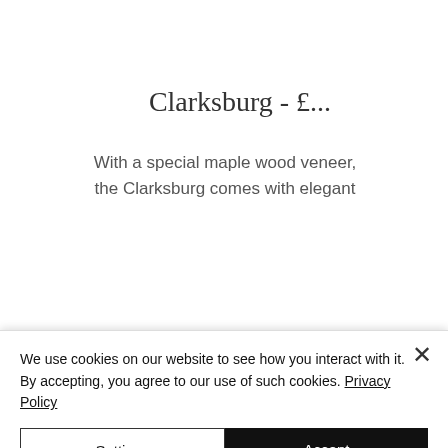Clarksburg - £...
With a special maple wood veneer, the Clarksburg comes with elegant
[Figure (screenshot): Dark footer navigation bar with 'Dulwich', Facebook icon, and 'Brockley' labels, partially visible]
We use cookies on our website to see how you interact with it. By accepting, you agree to our use of such cookies. Privacy Policy
Settings
Accept